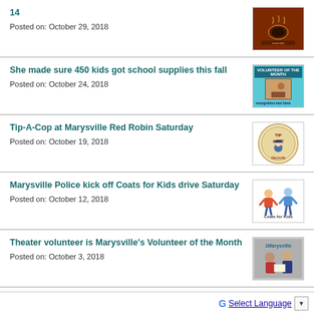14
Posted on: October 29, 2018
She made sure 450 kids got school supplies this fall
Posted on: October 24, 2018
Tip-A-Cop at Marysville Red Robin Saturday
Posted on: October 19, 2018
Marysville Police kick off Coats for Kids drive Saturday
Posted on: October 12, 2018
Theater volunteer is Marysville's Volunteer of the Month
Posted on: October 3, 2018
RFA Community Conversation Sept. 27 - y...
Select Language